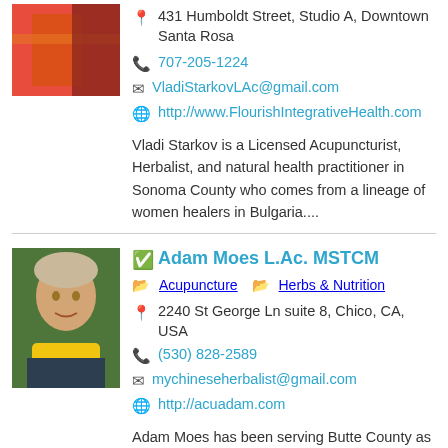[Figure (photo): Photo of practitioner with colorful fabric visible, partial view]
431 Humboldt Street, Studio A, Downtown Santa Rosa
707-205-1224
VladiStarkovLAc@gmail.com
http://www.FlourishIntegrativeHealth.com
Vladi Starkov is a Licensed Acupuncturist, Herbalist, and natural health practitioner in Sonoma County who comes from a lineage of women healers in Bulgaria....
[Figure (photo): Headshot of Adam Moes, a man with light hair wearing a yellow scarf]
Adam Moes L.Ac. MSTCM
Acupuncture  Herbs & Nutrition
2240 St George Ln suite 8, Chico, CA, USA
(530) 828-2589
mychineseherbalist@gmail.com
http://acuadam.com
Adam Moes has been serving Butte County as